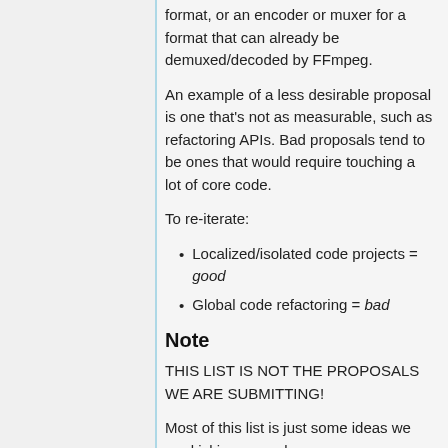format, or an encoder or muxer for a format that can already be demuxed/decoded by FFmpeg.
An example of a less desirable proposal is one that's not as measurable, such as refactoring APIs. Bad proposals tend to be ones that would require touching a lot of core code.
To re-iterate:
Localized/isolated code projects = good
Global code refactoring = bad
Note
THIS LIST IS NOT THE PROPOSALS WE ARE SUBMITTING!
Most of this list is just some ideas we are kicking around.